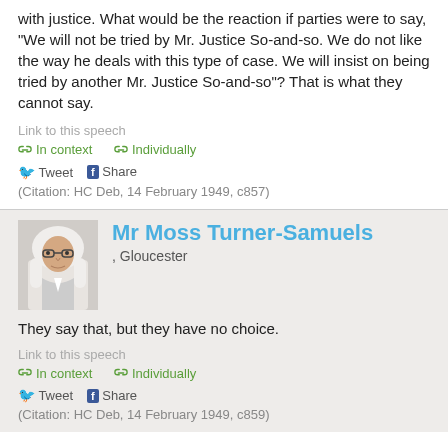with justice. What would be the reaction if parties were to say, "We will not be tried by Mr. Justice So-and-so. We do not like the way he deals with this type of case. We will insist on being tried by another Mr. Justice So-and-so"? That is what they cannot say.
Link to this speech
In context   Individually
Tweet   Share
(Citation: HC Deb, 14 February 1949, c857)
Mr Moss Turner-Samuels
, Gloucester
They say that, but they have no choice.
Link to this speech
In context   Individually
Tweet   Share
(Citation: HC Deb, 14 February 1949, c859)